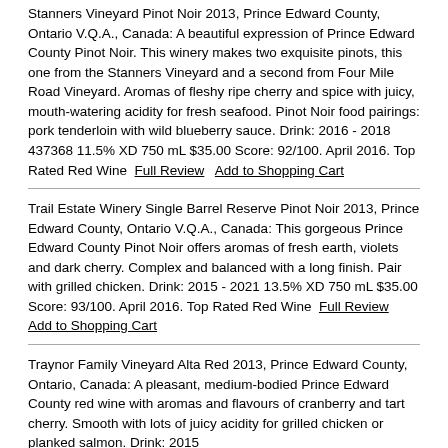Stanners Vineyard Pinot Noir 2013, Prince Edward County, Ontario V.Q.A., Canada: A beautiful expression of Prince Edward County Pinot Noir. This winery makes two exquisite pinots, this one from the Stanners Vineyard and a second from Four Mile Road Vineyard. Aromas of fleshy ripe cherry and spice with juicy, mouth-watering acidity for fresh seafood. Pinot Noir food pairings: pork tenderloin with wild blueberry sauce. Drink: 2016 - 2018 437368 11.5% XD 750 mL $35.00 Score: 92/100. April 2016. Top Rated Red Wine  Full Review   Add to Shopping Cart
Trail Estate Winery Single Barrel Reserve Pinot Noir 2013, Prince Edward County, Ontario V.Q.A., Canada: This gorgeous Prince Edward County Pinot Noir offers aromas of fresh earth, violets and dark cherry. Complex and balanced with a long finish. Pair with grilled chicken. Drink: 2015 - 2021 13.5% XD 750 mL $35.00 Score: 93/100. April 2016. Top Rated Red Wine  Full Review   Add to Shopping Cart
Traynor Family Vineyard Alta Red 2013, Prince Edward County, Ontario, Canada: A pleasant, medium-bodied Prince Edward County red wine with aromas and flavours of cranberry and tart cherry. Smooth with lots of juicy acidity for grilled chicken or planked salmon. Drink: 2015